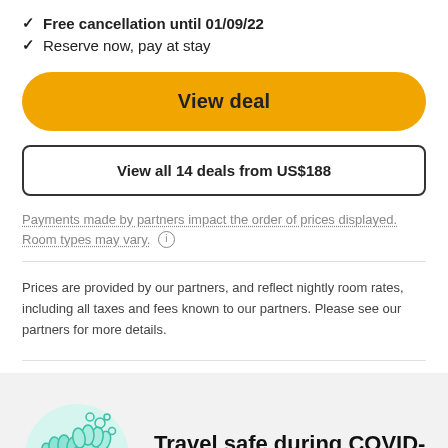✓ Free cancellation until 01/09/22
✓ Reserve now, pay at stay
View deal
View all 14 deals from US$188
Payments made by partners impact the order of prices displayed. Room types may vary. ⓘ
Prices are provided by our partners, and reflect nightly room rates, including all taxes and fees known to our partners. Please see our partners for more details.
Travel safe during COVID-19 ⓘ